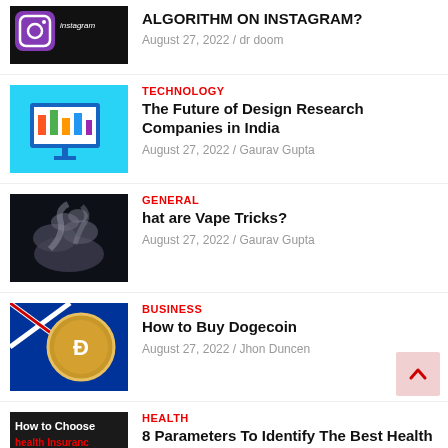ALGORITHM ON INSTAGRAM? August 27, 2022 / dr doom
TECHNOLOGY — The Future of Design Research Companies in India. August 27, 2022 / Gaurav Gupta
GENERAL — hat are Vape Tricks? August 27, 2022 / Gaurav Gupta
BUSINESS — How to Buy Dogecoin. August 27, 2022 / Jhon Duncen
HEALTH — 8 Parameters To Identify The Best Health Insurance In India. August 26, 2022 / Gaurav Gupta